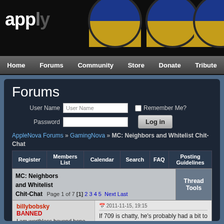[Figure (screenshot): Site header with 'apply' logo and circular badge icons with Ukraine flag colors (blue and yellow)]
Home | Forums | Community | Store | Donate | Tribute
Forums
User Name [input] Remember Me? Password [input] Log in
AppleNova Forums » GamingNova » MC: Neighbors and Whitelist Chit-Chat
| Register | Members List | Calendar | Search | FAQ | Posting Guidelines |
| --- | --- | --- | --- | --- | --- |
| MC: Neighbors and Whitelist Chit-Chat | Thread Tools |
| --- | --- |
| Page 1 of 7 [1] 2 3 4 5 Next Last | Thread Tools |
billybobsky
BANNED
I am worthless beyond hope.

Join Date: May 2004
Location: Inner Swabia. If you have
2011-11-15, 19:15
If 709 is chatty, he's probably had a bit to drink -- push him off a cliff and just laugh and